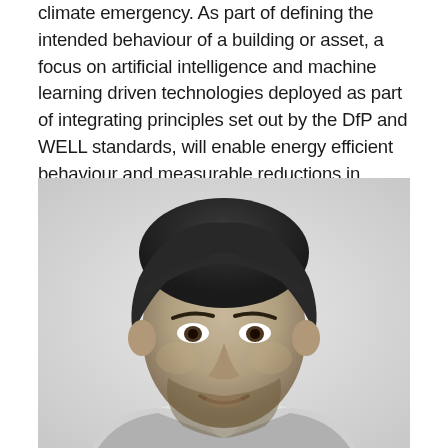climate emergency. As part of defining the intended behaviour of a building or asset, a focus on artificial intelligence and machine learning driven technologies deployed as part of integrating principles set out by the DfP and WELL standards, will enable energy efficient behaviour and measurable reductions in energy consumption.
[Figure (photo): Black and white headshot portrait of a young man with dark hair, beard stubble, wearing a suit, smiling slightly against a light grey background.]